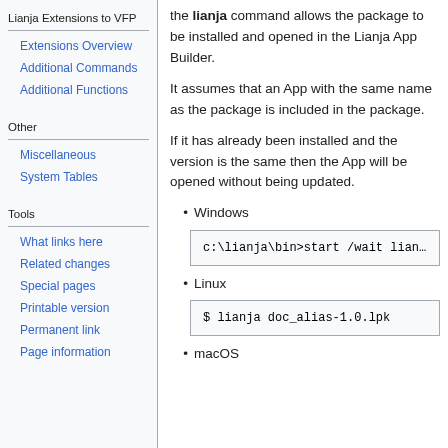Lianja Extensions to VFP
Extensions Overview
Additional Commands
Additional Functions
Other
Miscellaneous
System Tables
Tools
What links here
Related changes
Special pages
Printable version
Permanent link
Page information
the lianja command allows the package to be installed and opened in the Lianja App Builder.
It assumes that an App with the same name as the package is included in the package.
If it has already been installed and the version is the same then the App will be opened without being updated.
Windows
c:\lianja\bin>start /wait lian…
Linux
$ lianja doc_alias-1.0.lpk
macOS